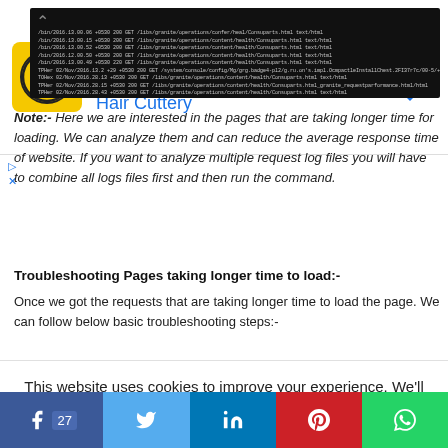[Figure (screenshot): Advertisement banner for Hair Cuttery: 'Book a Same Day Appointment' with yellow HC logo and blue navigation arrow icon]
[Figure (screenshot): Dark terminal/log window showing web server request log lines in white/green text on black background with a chevron arrow overlay]
Note:- Here we are interested in the pages that are taking longer time for loading. We can analyze them and can reduce the average response time of website. If you want to analyze multiple request log files you will have to combine all logs files first and then run the command.
Troubleshooting Pages taking longer time to load:-
Once we got the requests that are taking longer time to load the page. We can follow below basic troubleshooting steps:-
This website uses cookies to improve your experience. We'll assume you're ok with this, but you can opt-out if you wish.
[Figure (infographic): Social media sharing bar with Facebook (27), Twitter, LinkedIn, Pinterest, and WhatsApp icons]